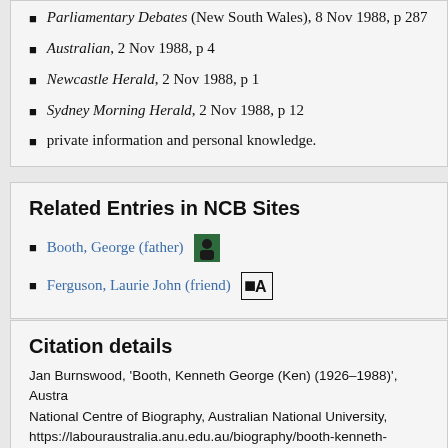Parliamentary Debates (New South Wales), 8 Nov 1988, p 287
Australian, 2 Nov 1988, p 4
Newcastle Herald, 2 Nov 1988, p 1
Sydney Morning Herald, 2 Nov 1988, p 12
private information and personal knowledge.
Related Entries in NCB Sites
Booth, George (father)
Ferguson, Laurie John (friend)
Citation details
Jan Burnswood, 'Booth, Kenneth George (Ken) (1926–1988)', Australian Labour Biography, National Centre of Biography, Australian National University, https://labouraustralia.anu.edu.au/biography/booth-kenneth-george-k, accessed 28 August 2022.